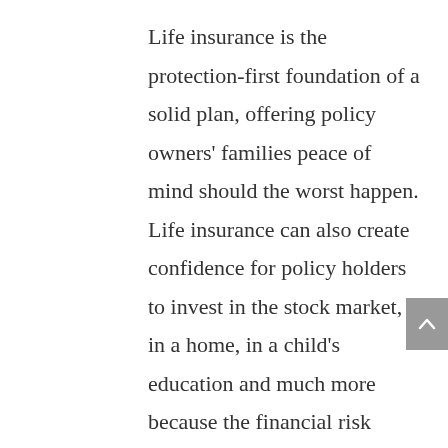Life insurance is the protection-first foundation of a solid plan, offering policy owners' families peace of mind should the worst happen. Life insurance can also create confidence for policy holders to invest in the stock market, in a home, in a child's education and much more because the financial risk created by those decisions is covered by the policy should something happen to the breadwinner.